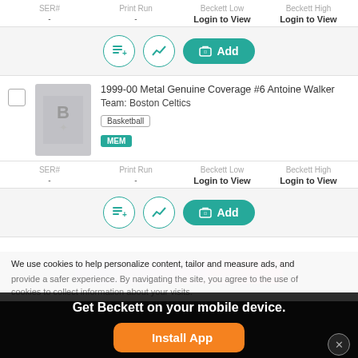| SER# | Print Run | Beckett Low | Beckett High |
| --- | --- | --- | --- |
| - | - | Login to View | Login to View |
Add (action bar buttons)
1999-00 Metal Genuine Coverage #6 Antoine Walker
Team: Boston Celtics
Basketball | MEM
| SER# | Print Run | Beckett Low | Beckett High |
| --- | --- | --- | --- |
| - | - | Login to View | Login to View |
Add (action bar buttons)
We use cookies to help personalize content, tailor and measure ads, and provide a safer experience. By navigating the site, you agree to the use of cookies to collect information about your visits.
Get Beckett on your mobile device.
Install App